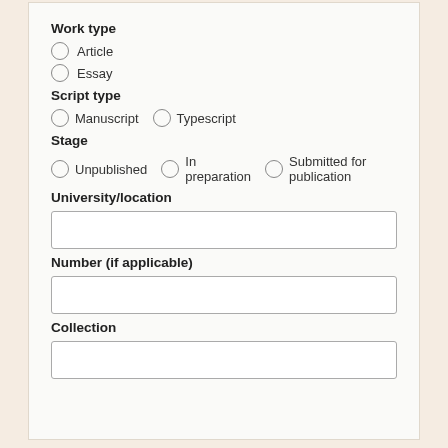Work type
Article
Essay
Script type
Manuscript
Typescript
Stage
Unpublished
In preparation
Submitted for publication
University/location
Number (if applicable)
Collection